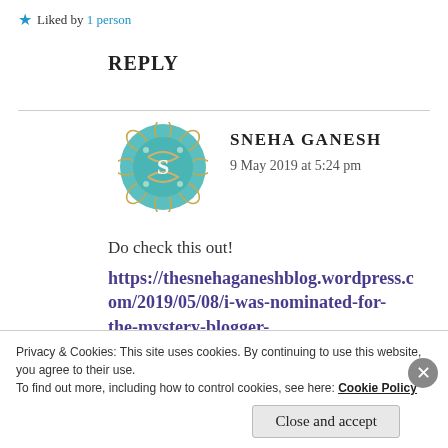★ Liked by 1 person
REPLY
[Figure (illustration): Circular teal decorative avatar with letter S in center, ornate floral pattern border]
SNEHA GANESH
9 May 2019 at 5:24 pm
Do check this out!
https://thesnehaganeshblog.wordpress.com/2019/05/08/i-was-nominated-for-the-mystery-blogger-
Privacy & Cookies: This site uses cookies. By continuing to use this website, you agree to their use.
To find out more, including how to control cookies, see here: Cookie Policy
Close and accept